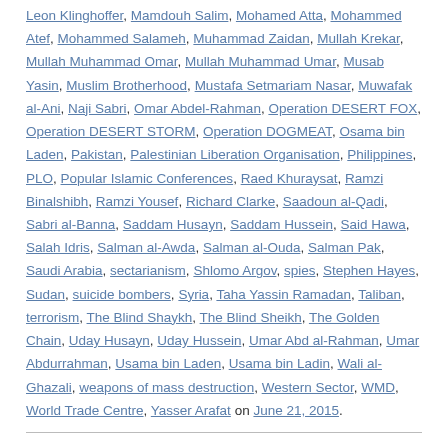Leon Klinghoffer, Mamdouh Salim, Mohamed Atta, Mohammed Atef, Mohammed Salameh, Muhammad Zaidan, Mullah Krekar, Mullah Muhammad Omar, Mullah Muhammad Umar, Musab Yasin, Muslim Brotherhood, Mustafa Setmariam Nasar, Muwafak al-Ani, Naji Sabri, Omar Abdel-Rahman, Operation DESERT FOX, Operation DESERT STORM, Operation DOGMEAT, Osama bin Laden, Pakistan, Palestinian Liberation Organisation, Philippines, PLO, Popular Islamic Conferences, Raed Khuraysat, Ramzi Binalshibh, Ramzi Yousef, Richard Clarke, Saadoun al-Qadi, Sabri al-Banna, Saddam Husayn, Saddam Hussein, Said Hawa, Salah Idris, Salman al-Awda, Salman al-Ouda, Salman Pak, Saudi Arabia, sectarianism, Shlomo Argov, spies, Stephen Hayes, Sudan, suicide bombers, Syria, Taha Yassin Ramadan, Taliban, terrorism, The Blind Shaykh, The Blind Sheikh, The Golden Chain, Uday Husayn, Uday Hussein, Umar Abd al-Rahman, Umar Abdurrahman, Usama bin Laden, Usama bin Ladin, Wali al-Ghazali, weapons of mass destruction, Western Sector, WMD, World Trade Centre, Yasser Arafat on June 21, 2015.